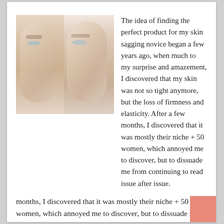[Figure (photo): Split image of a woman's face shown from two slightly different angles/lighting, side by side, with light neutral background. Skin care before/after style comparison.]
The idea of finding the perfect product for my skin sagging novice began a few years ago, when much to my surprise and amazement, I discovered that my skin was not so tight anymore, but the loss of firmness and elasticity. After a few months, I discovered that it was mostly their niche + 50 women, which annoyed me to discover, but to dissuade me from continuing to read issue after issue.
So my quest to find solutions to my detachment began with discomfort.